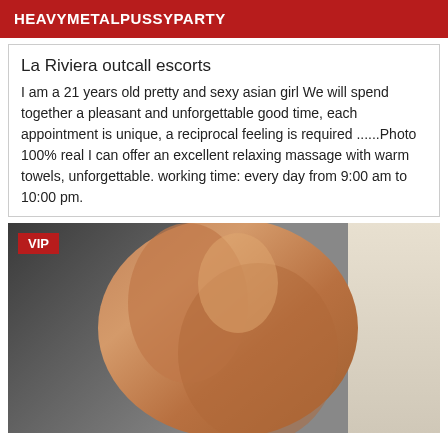HEAVYMETALPUSSYPARTY
La Riviera outcall escorts
I am a 21 years old pretty and sexy asian girl We will spend together a pleasant and unforgettable good time, each appointment is unique, a reciprocal feeling is required ......Photo 100% real I can offer an excellent relaxing massage with warm towels, unforgettable. working time: every day from 9:00 am to 10:00 pm.
[Figure (photo): Partially visible person with VIP badge overlay in top left corner]